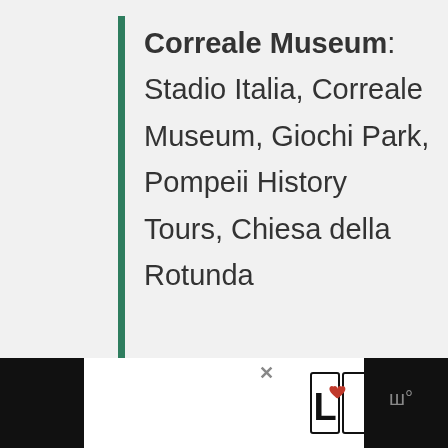Correale Museum: Stadio Italia, Correale Museum, Giochi Park, Pompeii History Tours, Chiesa della Rotunda
[Figure (screenshot): UI elements: heart/like button (teal circle with heart icon), like count '15', share button, 'WHAT'S NEXT' card with thumbnail for 'Where to Stay in Naples,...', and bottom advertisement bar with LOOVE logo]